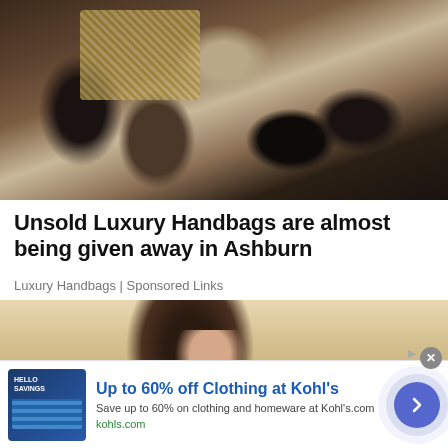[Figure (photo): Collection of luxury designer handbags (Louis Vuitton, Chanel) piled together, various styles and sizes in brown, black, and grey tones]
Unsold Luxury Handbags are almost being given away in Ashburn
Luxury Handbags | Sponsored Links
[Figure (photo): Close-up of a woman with dark hair looking down, warm beige background]
[Figure (other): Advertisement banner: Up to 60% off Clothing at Kohl's. Save up to 60% on clothing and homeware at Kohl's.com. kohls.com]